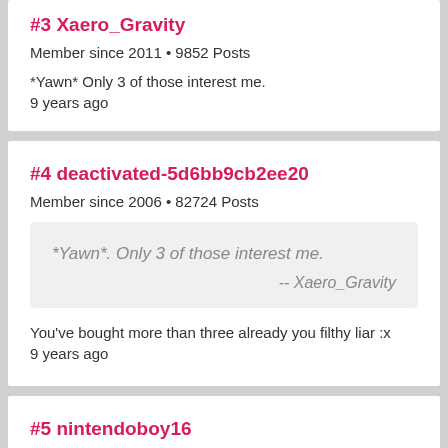#3 Xaero_Gravity
Member since 2011 • 9852 Posts
*Yawn* Only 3 of those interest me.
9 years ago
#4 deactivated-5d6bb9cb2ee20
Member since 2006 • 82724 Posts
*Yawn*. Only 3 of those interest me.
-- Xaero_Gravity
You've bought more than three already you filthy liar :x
9 years ago
#5 nintendoboy16
Member since 2007 • 39757 Posts